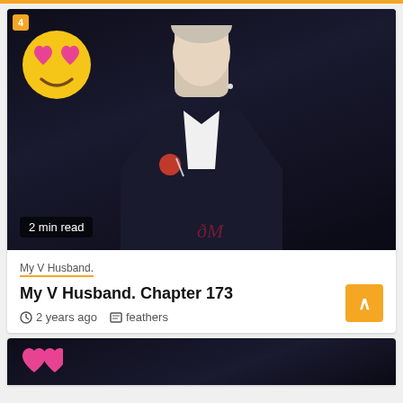[Figure (screenshot): Mobile app screenshot showing a story/chapter card. Features a dark photo of a young man in a black suit with white shirt and red floral brooch, overlaid with a heart-eyes emoji badge showing '4' notifications, and a '2 min read' label at bottom left.]
My V Husband.
My V Husband. Chapter 173
2 years ago  feathers
[Figure (photo): Partial view of another card below showing the same style — dark background with a heart-eyes emoji visible at bottom of page.]